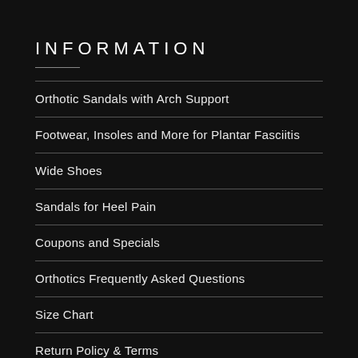INFORMATION
Orthotic Sandals with Arch Support
Footwear, Insoles and More for Plantar Fasciitis
Wide Shoes
Sandals for Heel Pain
Coupons and Specials
Orthotics Frequently Asked Questions
Size Chart
Return Policy & Terms